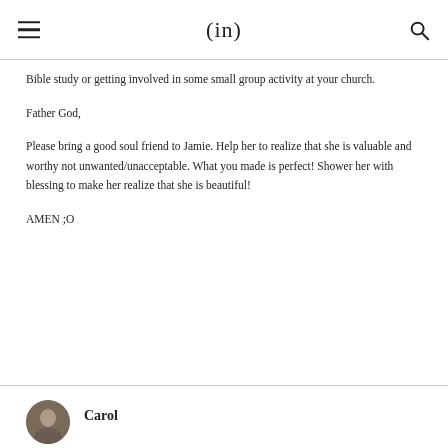(in)
Bible study or getting involved in some small group activity at your church.
Father God,
Please bring a good soul friend to Jamie. Help her to realize that she is valuable and worthy not unwanted/unacceptable. What you made is perfect! Shower her with blessing to make her realize that she is beautiful!
AMEN ;O
Carol